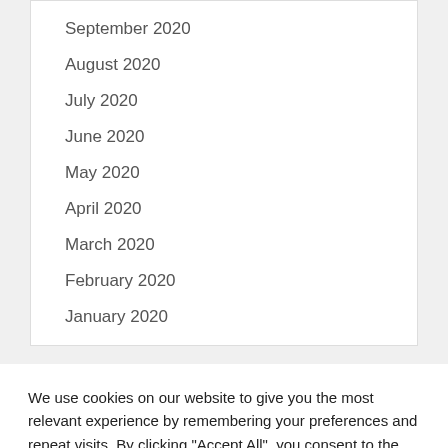September 2020
August 2020
July 2020
June 2020
May 2020
April 2020
March 2020
February 2020
January 2020
We use cookies on our website to give you the most relevant experience by remembering your preferences and repeat visits. By clicking "Accept All", you consent to the use of ALL the cookies. However, you may visit "Cookie Settings" to provide a controlled consent.
Cookie Settings | Accept All